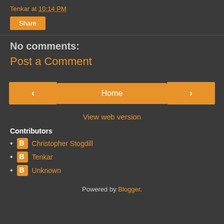Tenkar at 10:14 PM
Share
No comments:
Post a Comment
< Home >
View web version
Contributors
Christopher Stogdill
Tenkar
Unknown
Powered by Blogger.